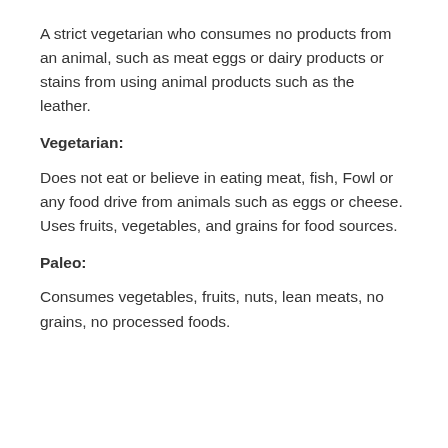A strict vegetarian who consumes no products from an animal, such as meat eggs or dairy products or stains from using animal products such as the leather.
Vegetarian:
Does not eat or believe in eating meat, fish, Fowl or any food drive from animals such as eggs or cheese. Uses fruits, vegetables, and grains for food sources.
Paleo:
Consumes vegetables, fruits, nuts, lean meats, no grains, no processed foods.